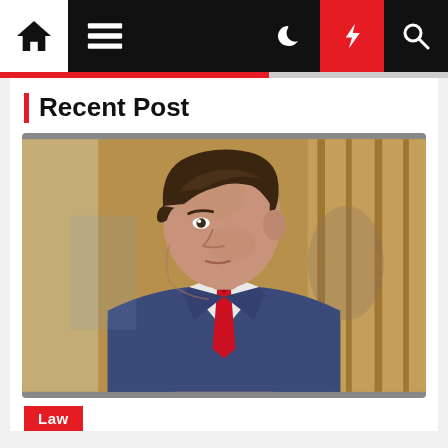Navigation bar with home, menu, dark mode, flash, and search icons
Recent Post
[Figure (photo): A man in a blue suit with a red tie, photographed in profile/three-quarter view, with dark brown hair, against a blurred indoor background with wood paneling.]
Law